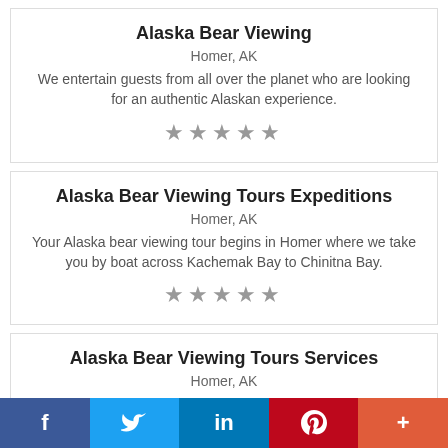Alaska Bear Viewing
Homer, AK
We entertain guests from all over the planet who are looking for an authentic Alaskan experience.
★★★★★
Alaska Bear Viewing Tours Expeditions
Homer, AK
Your Alaska bear viewing tour begins in Homer where we take you by boat across Kachemak Bay to Chinitna Bay.
★★★★★
Alaska Bear Viewing Tours Services
Homer, AK
Bear viewing Alaska - Breaking down your bear viewing tour from start to finish!
f  Twitter  in  P  +